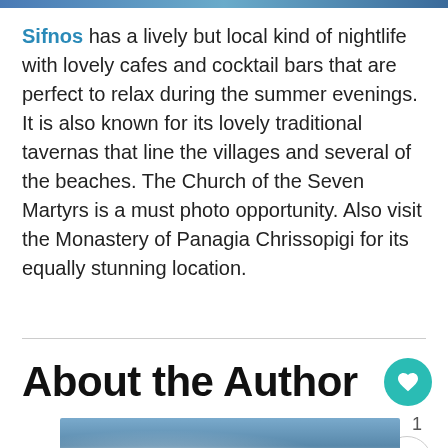[Figure (photo): Thin image bar at top of page, partially visible photo]
Sifnos has a lively but local kind of nightlife with lovely cafes and cocktail bars that are perfect to relax during the summer evenings.  It is also known for its lovely traditional tavernas that line the villages and several of the beaches.  The Church of the Seven Martyrs is a must photo opportunity. Also visit the Monastery of Panagia Chrissopigi for its equally stunning location.
About the Author
[Figure (photo): Partial photo at bottom of page showing a village or landscape, likely Sifnos]